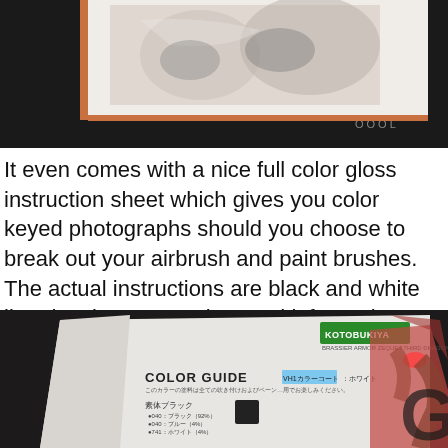[Figure (photo): Top photo showing model kit contents in plastic packaging inside a box, partially visible with dark background.]
It even comes with a nice full color gloss instruction sheet which gives you color keyed photographs should you choose to break out your airbrush and paint brushes. The actual instructions are black and white line drawings. Very clear and informative. No need to be able to read Japanese.
[Figure (photo): Bottom photo showing a Kotobukiya model kit color guide instruction sheet with COLOR GUIDE printed on it, dark background, Japanese text visible.]